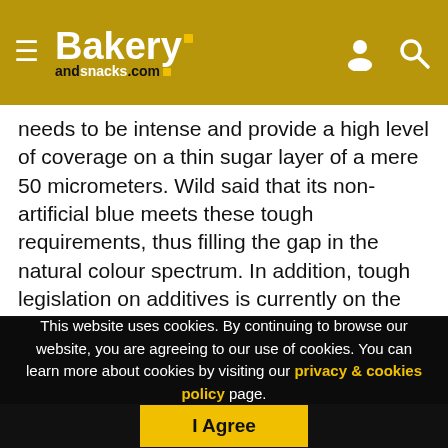Bakery andsnacks.com
needs to be intense and provide a high level of coverage on a thin sugar layer of a mere 50 micrometers. Wild said that its non-artificial blue meets these tough requirements, thus filling the gap in the natural colour spectrum. In addition, tough legislation on additives is currently on the debating table. Europe's food safety authority recently issued information on current food additive laws ahead of the upcoming Codex meeting in China, which will discuss proposed amendments. CCFA was established to set or endorse maximum levels for individual food additives, prepare priority lists of food additives
This website uses cookies. By continuing to browse our website, you are agreeing to our use of cookies. You can learn more about cookies by visiting our privacy & cookies policy page.